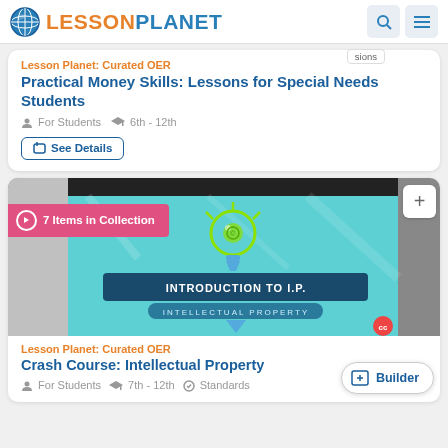Lesson Planet
Lesson Planet: Curated OER
Practical Money Skills: Lessons for Special Needs Students
For Students  6th - 12th
See Details
[Figure (screenshot): Introduction to I.P. Intellectual Property thumbnail image with lightbulb icon and CC badge. Pink badge reading 7 Items in Collection.]
Lesson Planet: Curated OER
Crash Course: Intellectual Property
For Students  7th - 12th  Standards